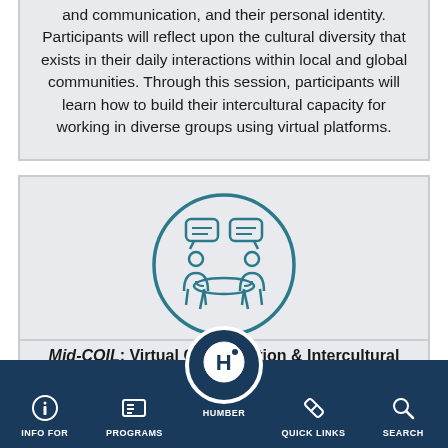and communication, and their personal identity. Participants will reflect upon the cultural diversity that exists in their daily interactions within local and global communities. Through this session, participants will learn how to build their intercultural capacity for working in diverse groups using virtual platforms.
[Figure (illustration): Two people sitting at a table having a conversation, with speech/chat bubbles above them, enclosed in a circle outline. Teal/blue line art style.]
Mid-COIL: Virtual Collaboration & Intercultural Awareness...
INFO FOR | PROGRAMS | HUMBER | QUICK LINKS | SEARCH